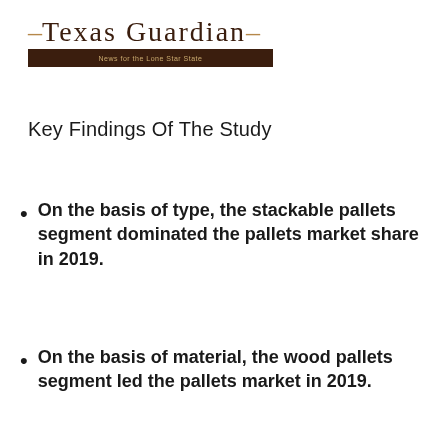Texas Guardian — News for the Lone Star State
Key Findings Of The Study
On the basis of type, the stackable pallets segment dominated the pallets market share in 2019.
On the basis of material, the wood pallets segment led the pallets market in 2019.